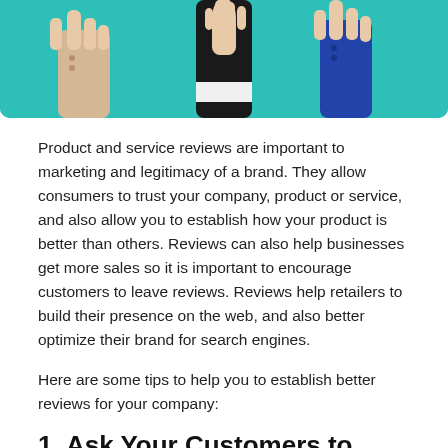[Figure (illustration): Illustration showing three hands raised up against a teal/turquoise background, each holding something. Left hand has a tan/beige sleeve, center hand has a dark (black) sleeve, right hand has a blue sleeve.]
Product and service reviews are important to marketing and legitimacy of a brand. They allow consumers to trust your company, product or service, and also allow you to establish how your product is better than others. Reviews can also help businesses get more sales so it is important to encourage customers to leave reviews. Reviews help retailers to build their presence on the web, and also better optimize their brand for search engines.
Here are some tips to help you to establish better reviews for your company:
1. Ask Your Customers to Give a